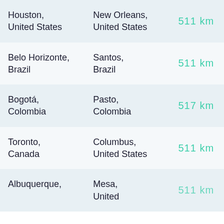| Houston, United States | New Orleans, United States | 511 km |
| Belo Horizonte, Brazil | Santos, Brazil | 511 km |
| Bogotá, Colombia | Pasto, Colombia | 517 km |
| Toronto, Canada | Columbus, United States | 511 km |
| Albuquerque, | Mesa, United | 511 km |